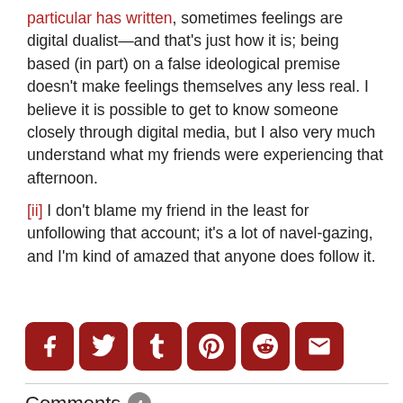particular has written, sometimes feelings are digital dualist—and that's just how it is; being based (in part) on a false ideological premise doesn't make feelings themselves any less real. I believe it is possible to get to know someone closely through digital media, but I also very much understand what my friends were experiencing that afternoon.
[ii] I don't blame my friend in the least for unfollowing that account; it's a lot of navel-gazing, and I'm kind of amazed that anyone does follow it.
[Figure (infographic): Social sharing icons: Facebook, Twitter, Tumblr, Pinterest, Reddit, Email — dark red rounded square buttons]
Comments 4
Suzanne — December 30, 2013